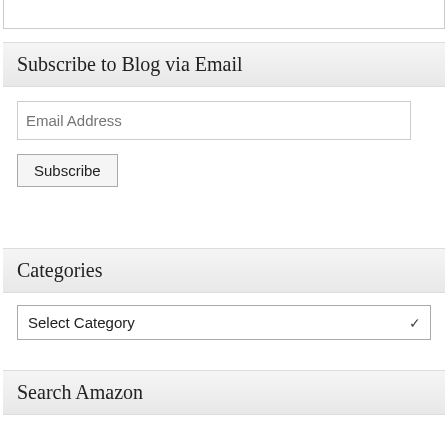[Figure (screenshot): Teal/cyan colored top bar element at the top of a blog sidebar widget]
Subscribe to Blog via Email
Email Address
Subscribe
Categories
Select Category
Search Amazon